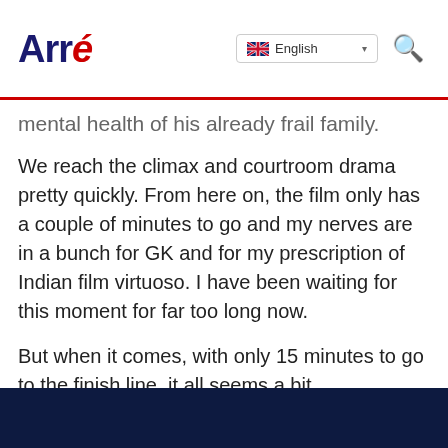Arré | English
mental health of his already frail family.
We reach the climax and courtroom drama pretty quickly. From here on, the film only has a couple of minutes to go and my nerves are in a bunch for GK and for my prescription of Indian film virtuoso. I have been waiting for this moment for far too long now.
But when it comes, with only 15 minutes to go to the finish line, it all seems a bit underwhelming. GK has made friends in all the right places, convincing for the Drishyam die-hards who would